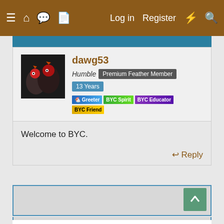Log in  Register
dawg53
Humble  Premium Feather Member  13 Years
[Figure (illustration): User avatar showing chickens, dark background]
Greeter  BYC Spirit  BYC Educator  BYC Friend
Welcome to BYC.
Reply